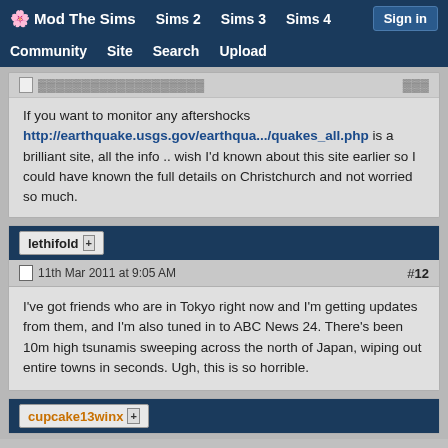Mod The Sims | Sims 2 | Sims 3 | Sims 4 | Sign in | Community | Site | Search | Upload
If you want to monitor any aftershocks http://earthquake.usgs.gov/earthqua.../quakes_all.php is a brilliant site, all the info .. wish I'd known about this site earlier so I could have known the full details on Christchurch and not worried so much.
lethifold +
11th Mar 2011 at 9:05 AM  #12
I've got friends who are in Tokyo right now and I'm getting updates from them, and I'm also tuned in to ABC News 24. There's been 10m high tsunamis sweeping across the north of Japan, wiping out entire towns in seconds. Ugh, this is so horrible.
cupcake13winx +